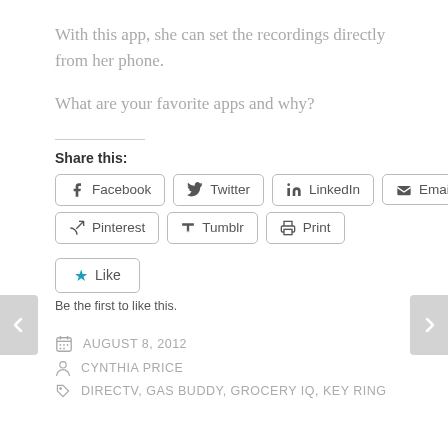With this app, she can set the recordings directly from her phone.
What are your favorite apps and why?
Share this:
Facebook  Twitter  LinkedIn  Email  Pinterest  Tumblr  Print
Like
Be the first to like this.
AUGUST 8, 2012
CYNTHIA PRICE
DIRECTV, GAS BUDDY, GROCERY IQ, KEY RING